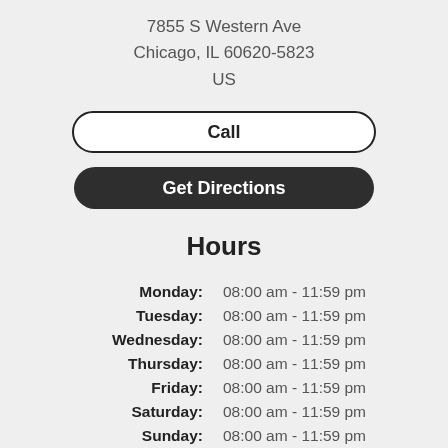7855 S Western Ave
Chicago, IL 60620-5823
US
Call
Get Directions
Hours
Monday: 08:00 am - 11:59 pm
Tuesday: 08:00 am - 11:59 pm
Wednesday: 08:00 am - 11:59 pm
Thursday: 08:00 am - 11:59 pm
Friday: 08:00 am - 11:59 pm
Saturday: 08:00 am - 11:59 pm
Sunday: 08:00 am - 11:59 pm